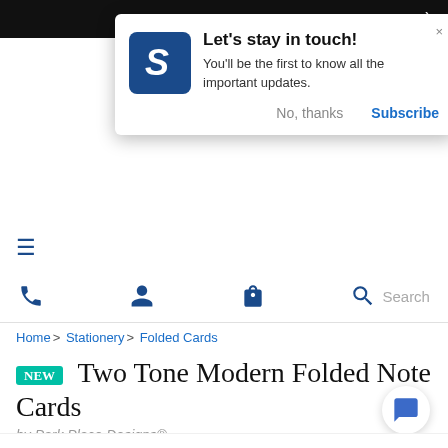[Figure (screenshot): Website notification popup: Let's stay in touch! with logo, message, No thanks and Subscribe buttons]
Let's stay in touch!
You'll be the first to know all the important updates.
No, thanks   Subscribe
Home > Stationery > Folded Cards
NEW  Two Tone Modern Folded Note Cards
by Park Place Designs®
☆☆☆☆☆ be the first!
10% OFF ℹ
PPD-IN_SA2FO1208